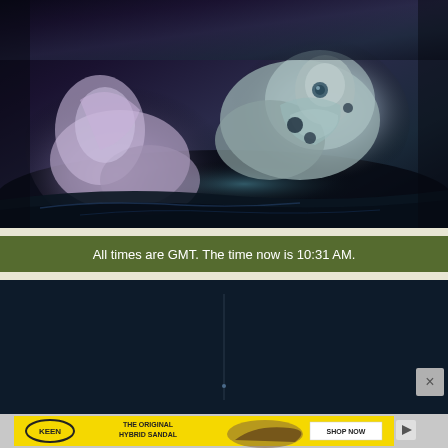[Figure (screenshot): Game screenshot showing animated characters in armor lying on a dark surface with blue/teal and purple tones]
All times are GMT. The time now is 10:31 AM.
[Figure (screenshot): Dark navy blue forum/website bottom section with a vertical dividing line]
[Figure (advertisement): Keen footwear advertisement on yellow background: THE ORIGINAL HYBRID SANDAL with SHOP NOW button]